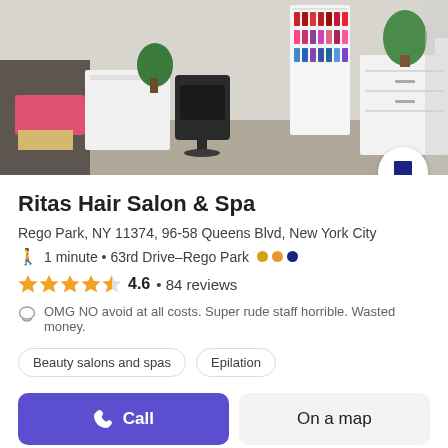[Figure (photo): Interior of Ritas Hair Salon & Spa showing salon chairs, nail polish display rack, plants, and styling stations]
Ritas Hair Salon & Spa
Rego Park, NY 11374, 96-58 Queens Blvd, New York City
1 minute • 63rd Drive–Rego Park
4.6 • 84 reviews
OMG NO avoid at all costs. Super rude staff horrible. Wasted money.
Beauty salons and spas
Epilation
Call
On a map